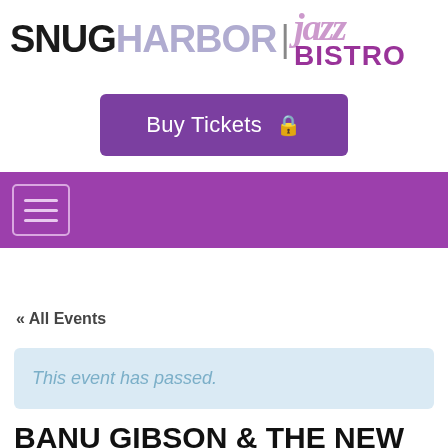[Figure (logo): Snug Harbor Jazz Bistro logo — SNUG in black bold, HARBOR in light purple, vertical divider, 'jazz' in italic pink/purple, BISTRO in bold purple]
Buy Tickets 🔒
[Figure (other): Purple navigation bar with hamburger menu button (three horizontal lines in rounded rectangle)]
« All Events
This event has passed.
BANU GIBSON & THE NEW